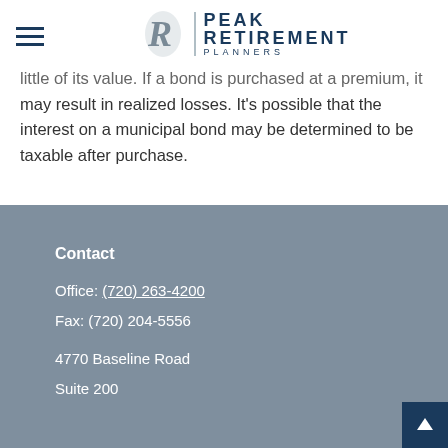Peak Retirement Planners
little of its value. If a bond is purchased at a premium, it may result in realized losses. It's possible that the interest on a municipal bond may be determined to be taxable after purchase.
Contact
Office: (720) 263-4200
Fax: (720) 204-5556

4770 Baseline Road
Suite 200